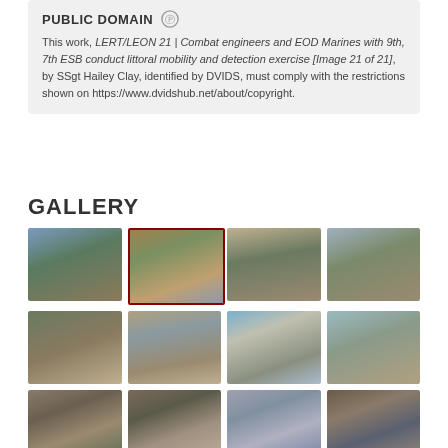PUBLIC DOMAIN
This work, LERT/LEON 21 | Combat engineers and EOD Marines with 9th, 7th ESB conduct littoral mobility and detection exercise [Image 21 of 21], by SSgt Hailey Clay, identified by DVIDS, must comply with the restrictions shown on https://www.dvidshub.net/about/copyright.
GALLERY
[Figure (photo): Military photo gallery grid showing 12+ thumbnail images of Marines/soldiers in combat training scenarios, beach exercises, and briefings.]